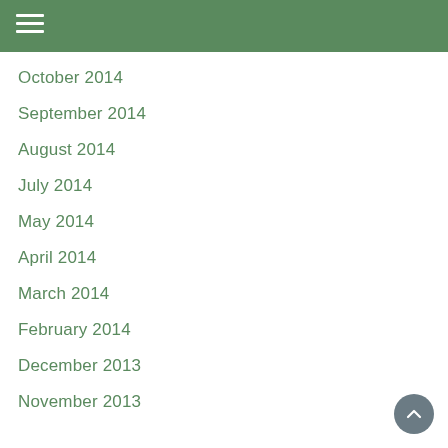Navigation menu header bar
October 2014
September 2014
August 2014
July 2014
May 2014
April 2014
March 2014
February 2014
December 2013
November 2013